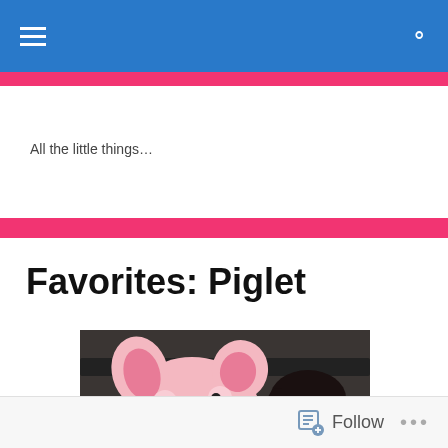All the little things…
Favorites: Piglet
[Figure (photo): A large pink Piglet stuffed animal face-to-face with a dark-haired young woman, photographed indoors against a dark background.]
Follow •••